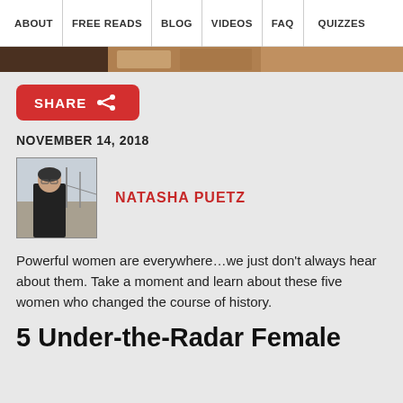ABOUT | FREE READS | BLOG | VIDEOS | FAQ | QUIZZES
[Figure (photo): Partial image strip at top of content, appears to be a banner or hero image partially visible]
[Figure (other): Red SHARE button with share icon]
NOVEMBER 14, 2018
[Figure (photo): Author photo of Natasha Puetz, a woman in black top standing outdoors with bridge visible in background]
NATASHA PUETZ
Powerful women are everywhere…we just don't always hear about them. Take a moment and learn about these five women who changed the course of history.
5 Under-the-Radar Female Role Models Who...